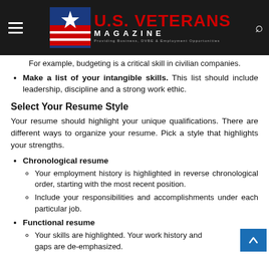U.S. VETERANS MAGAZINE — Providing Business, DVBE & Employment Opportunities
For example, budgeting is a critical skill in civilian companies.
Make a list of your intangible skills. This list should include leadership, discipline and a strong work ethic.
Select Your Resume Style
Your resume should highlight your unique qualifications. There are different ways to organize your resume. Pick a style that highlights your strengths.
Chronological resume
Your employment history is highlighted in reverse chronological order, starting with the most recent position.
Include your responsibilities and accomplishments under each particular job.
Functional resume
Your skills are highlighted. Your work history and gaps are de-emphasized.